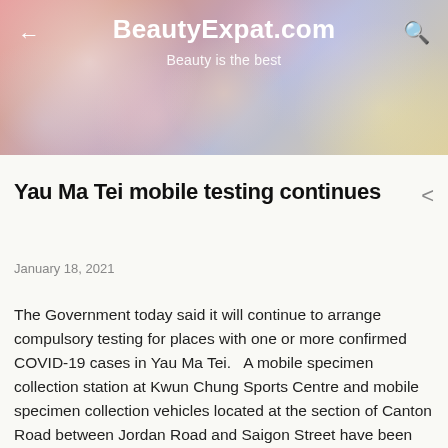BeautyExpat.com
Beauty is the best
BidVertiser
Yau Ma Tei mobile testing continues
January 18, 2021
The Government today said it will continue to arrange compulsory testing for places with one or more confirmed COVID-19 cases in Yau Ma Tei.   A mobile specimen collection station at Kwun Chung Sports Centre and mobile specimen collection vehicles located at the section of Canton Road between Jordan Road and Saigon Street have been set up to conduct free testing for residents.   Residents required to undergo compulsory testing may also take the test for free